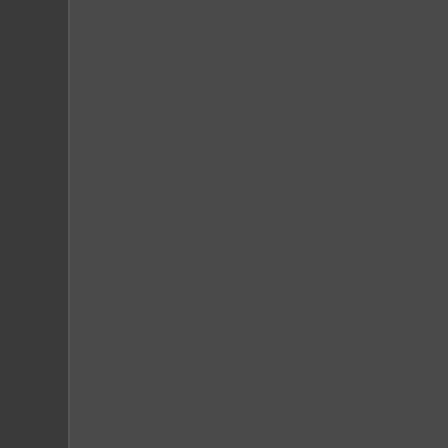the euphoria associated with coca use can trigger tremendous cravin of abstinence. Through the use o dynamic changes that occur in the different brain changes that occur the craving for cocaine. They can cocaine addict sees or hears envi studies help us by pinpointing spe regions are critical to identifying ta
Crack Cocaine Abuse Help, Belm
Crack cocaine abuse is usually no given and something done about t mount up and become more difficu first line of defense or offense in crack cocaine abuse is already a sources of the difficulty. Disorders not genes. Depression, guilt, and c abuse. The solution is to fully deto the help of drugs.
Just cutting down on crack cocaine level always goes back up again. crack cocaine abuse now. Don't p using crack cocaine for an extende withdrawal. Additionally, the indivi period of time. This craving is nor very difficult for anyone who has a their own without help from a profe crack cocaine abuse help on this w
Ecstasy Abuse Help, Belmont, M
Ecstasy abuse help involves a mu individual goes through a detoxifi system. Secondly, they need to therapy. This two part process...